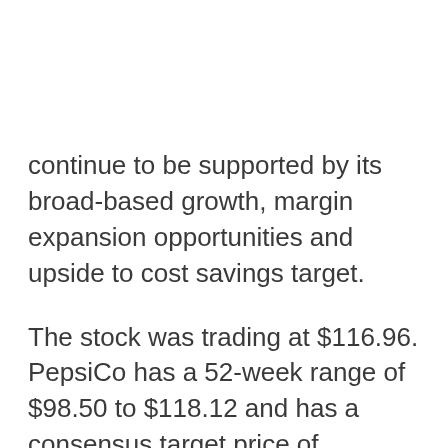continue to be supported by its broad-based growth, margin expansion opportunities and upside to cost savings target.
The stock was trading at $116.96. PepsiCo has a 52-week range of $98.50 to $118.12 and has a consensus target price of $122.10.
Dr Pepper Snapple Group Inc. (NYSE: DPS) was raised to Outperform from Market Perform with a $105 price target (versus a